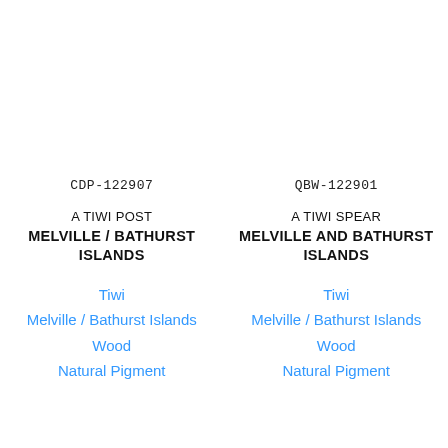CDP-122907
A TIWI POST
MELVILLE / BATHURST ISLANDS
Tiwi
Melville / Bathurst Islands
Wood
Natural Pigment
QBW-122901
A TIWI SPEAR
MELVILLE AND BATHURST ISLANDS
Tiwi
Melville / Bathurst Islands
Wood
Natural Pigment